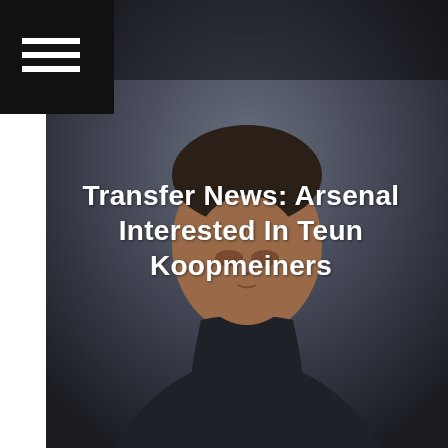[Figure (photo): A man in a dark jacket looking downward, hero image for Arsenal transfer news article]
Transfer News: Arsenal Interested In Teun Koopmeiners
Arsenal are among clubs interested in the services of AZ Alkmaar midfielder Teun Koopmeiners, who is playing for Netherlands in Euro 2020.
[Figure (photo): Second photo partially visible at bottom of page, dark background with partial figure]